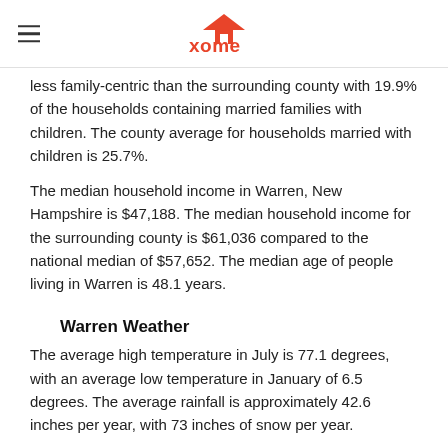xome
less family-centric than the surrounding county with 19.9% of the households containing married families with children. The county average for households married with children is 25.7%.
The median household income in Warren, New Hampshire is $47,188. The median household income for the surrounding county is $61,036 compared to the national median of $57,652. The median age of people living in Warren is 48.1 years.
Warren Weather
The average high temperature in July is 77.1 degrees, with an average low temperature in January of 6.5 degrees. The average rainfall is approximately 42.6 inches per year, with 73 inches of snow per year.